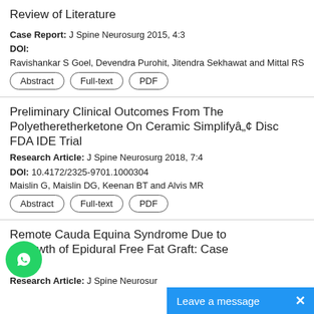Review of Literature
Case Report: J Spine Neurosurg 2015, 4:3
DOI:
Ravishankar S Goel, Devendra Purohit, Jitendra Sekhawat and Mittal RS
Preliminary Clinical Outcomes From The Polyetheretherketone On Ceramic Simplify® Disc FDA IDE Trial
Research Article: J Spine Neurosurg 2018, 7:4
DOI: 10.4172/2325-9701.1000304
Maislin G, Maislin DG, Keenan BT and Alvis MR
Remote Cauda Equina Syndrome Due to Growth of Epidural Free Fat Graft: Case Report
Research Article: J Spine Neurosur